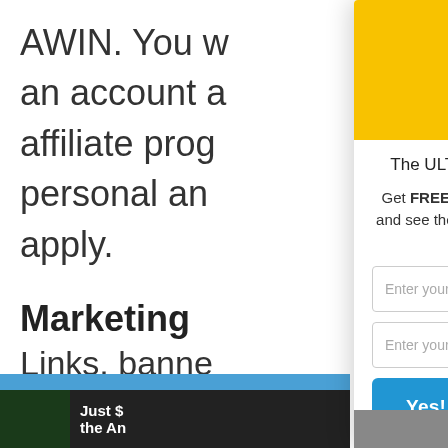AWIN. You w an account a affiliate prog personal an apply.
Marketing
Links, banne
[Figure (photo): Product box image: The ULTIMATE Affiliate Program Toolkit book/box on yellow background]
The ULTIMATE Affiliate Program Toolkit
Get FREE access to my affiliate program toolkit and see the top 28 profitable affiliate programs to join!
Enter your name here...
Enter your email address here...
Yes! Send Me The FREE PDF
optinmonster